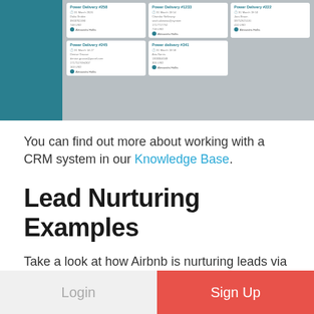[Figure (screenshot): A CRM dashboard interface showing delivery order cards arranged in a grid, with a teal sidebar on the left. Cards display order IDs like Power Delivery #258, #1233, #222, #245, #341 with dates, contact info, amounts, and user avatars (Alexandra Hollis).]
You can find out more about working with a CRM system in our Knowledge Base.
Lead Nurturing Examples
Take a look at how Airbnb is nurturing leads via email campaign